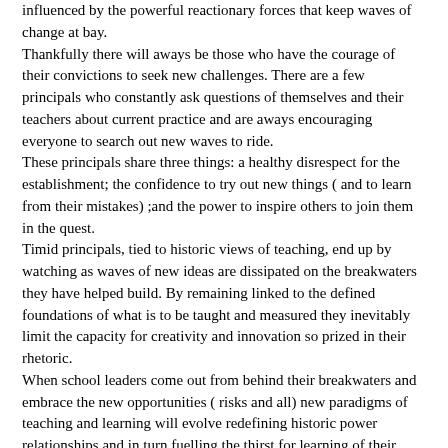influenced by the powerful reactionary forces that keep waves of change at bay. Thankfully there will aways be those who have the courage of their convictions to seek new challenges. There are a few principals who constantly ask questions of themselves and their teachers about current practice and are aways encouraging everyone to search out new waves to ride. These principals share three things: a healthy disrespect for the establishment; the confidence to try out new things ( and to learn from their mistakes) ;and the power to inspire others to join them in the quest. Timid principals, tied to historic views of teaching, end up by watching as waves of new ideas are dissipated on the breakwaters they have helped build. By remaining linked to the defined foundations of what is to be taught and measured they inevitably limit the capacity for creativity and innovation so prized in their rhetoric. When school leaders come out from behind their breakwaters and embrace the new opportunities ( risks and all) new paradigms of teaching and learning will evolve redefining historic power relationships and in turn fuelling the thirst for learning of their, staff, students and parents. It is all about leadership. A leadership that makes 'its' intentions clear - waves are to be ridden; ;risks are to be taken; catching waves is the future. Such leaders are dissatisfied with the status quo and continually question the purpose of education and then they go about creating the conditions to